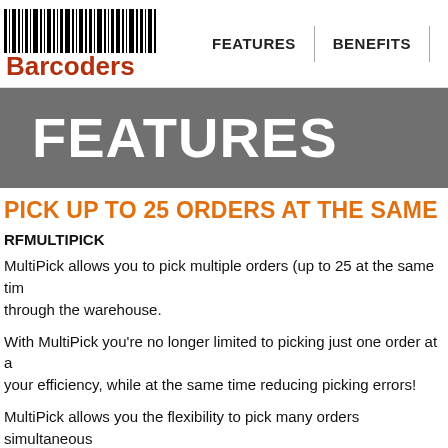Barcoders | FEATURES | BENEFITS | SYSTE...
FEATURES
PICK UP TO 25 ORDERS AT THE SAME
RFMULTIPICK
MultiPick allows you to pick multiple orders (up to 25 at the same time) through the warehouse.
With MultiPick you're no longer limited to picking just one order at a time — increasing your efficiency, while at the same time reducing picking errors!
MultiPick allows you the flexibility to pick many orders simultaneously warehouse configuration, number of employees assigned to picking